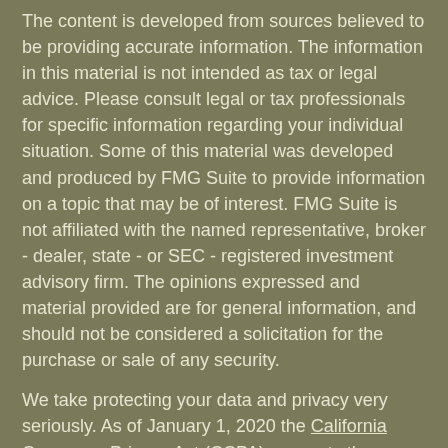The content is developed from sources believed to be providing accurate information. The information in this material is not intended as tax or legal advice. Please consult legal or tax professionals for specific information regarding your individual situation. Some of this material was developed and produced by FMG Suite to provide information on a topic that may be of interest. FMG Suite is not affiliated with the named representative, broker - dealer, state - or SEC - registered investment advisory firm. The opinions expressed and material provided are for general information, and should not be considered a solicitation for the purchase or sale of any security.
We take protecting your data and privacy very seriously. As of January 1, 2020 the California Consumer Privacy Act (CCPA) suggests the following link as an extra measure to safeguard your data: Do not sell my personal information.
Copyright 2022 FMG Suite.
A note to affiliated firms: please feel free to use and share...